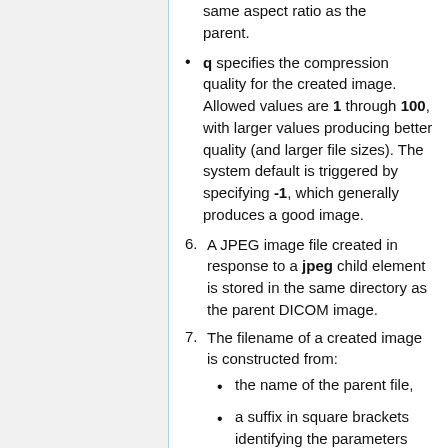same aspect ratio as the parent.
q specifies the compression quality for the created image. Allowed values are 1 through 100, with larger values producing better quality (and larger file sizes). The system default is triggered by specifying -1, which generally produces a good image.
6. A JPEG image file created in response to a jpeg child element is stored in the same directory as the parent DICOM image.
7. The filename of a created image is constructed from:
the name of the parent file,
a suffix in square brackets identifying the parameters